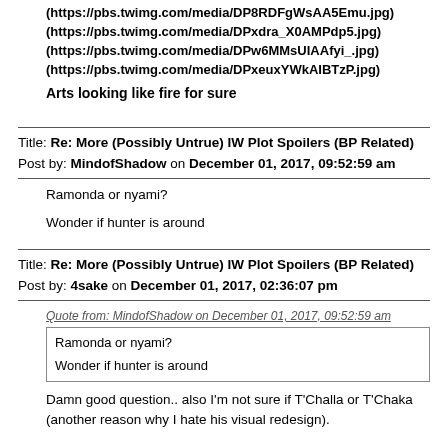(https://pbs.twimg.com/media/DP8RDFgWsAA5Emu.jpg)
(https://pbs.twimg.com/media/DPxdra_X0AMPdp5.jpg)
(https://pbs.twimg.com/media/DPw6MMsUIAAfyi_.jpg)
(https://pbs.twimg.com/media/DPxeuxYWkAIBTzP.jpg)
Arts looking like fire for sure
Title: Re: More (Possibly Untrue) IW Plot Spoilers (BP Related)
Post by: MindofShadow on December 01, 2017, 09:52:59 am
Ramonda or nyami?

Wonder if hunter is around
Title: Re: More (Possibly Untrue) IW Plot Spoilers (BP Related)
Post by: 4sake on December 01, 2017, 02:36:07 pm
Quote from: MindofShadow on December 01, 2017, 09:52:59 am
Ramonda or nyami?

Wonder if hunter is around
Damn good question.. also I'm not sure if T'Challa or T'Chaka (another reason why I hate his visual redesign).